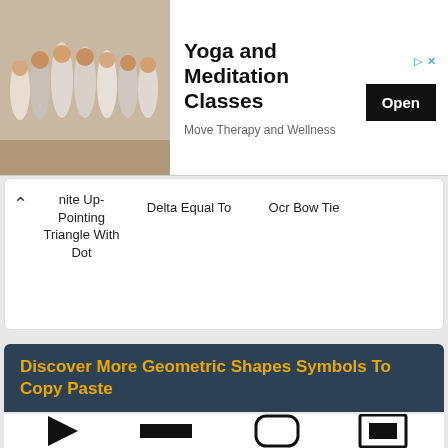[Figure (photo): Advertisement banner: Yoga and Meditation Classes with group photo of women, Open button, Move Therapy and Wellness subtitle]
White Up-Pointing Triangle With Dot
Delta Equal To
Ocr Bow Tie
Discover More Geometric Shapes Symbols To Copy Paste
[Figure (infographic): Black Right-Pointing Triangle symbol]
Black Right-Pointing Triangle
[Figure (infographic): Black Rectangle symbol]
Black Rectangle
[Figure (infographic): White Square With Rounded Corners symbol]
White Square With Rounded Corners
[Figure (infographic): White Square Containing Black Small Square symbol]
White Square Containing Black Small Square